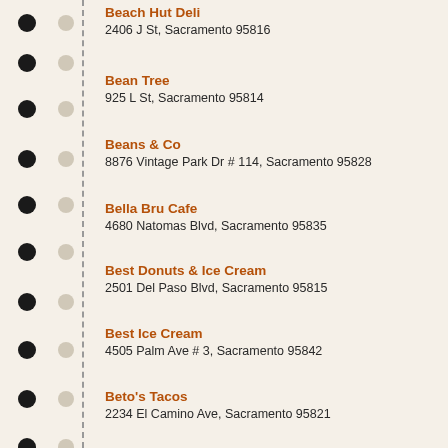Beach Hut Deli
2406 J St, Sacramento 95816
Bean Tree
925 L St, Sacramento 95814
Beans & Co
8876 Vintage Park Dr # 114, Sacramento 95828
Bella Bru Cafe
4680 Natomas Blvd, Sacramento 95835
Best Donuts & Ice Cream
2501 Del Paso Blvd, Sacramento 95815
Best Ice Cream
4505 Palm Ave # 3, Sacramento 95842
Beto's Tacos
2234 El Camino Ave, Sacramento 95821
Beto's Taqueria
480 El Camino Ave, Sacramento 95815
Big Boy Pizza & Subs
5943 Florin Rd, Sacramento 95823
Bill's Gourmet Deli
9408 Kiefer Blvd # 2, Sacramento 95826
Birrieria Bugambilias
7242 Franklin Blvd, Sacramento 95823
Bistro Bakery
1000 Arden Way, Sacramento 95821